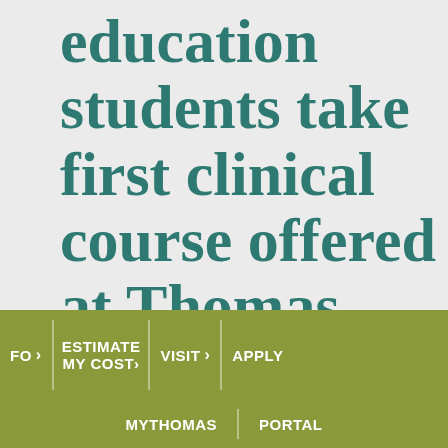education students take first clinical course offered at Thomas College
FO >
ESTIMATE MY COST >
VISIT >
APPLY
MYTHOMAS
PORTAL